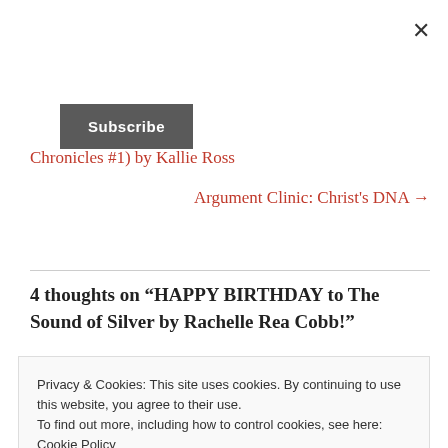×
Subscribe
Chronicles #1) by Kallie Ross
Argument Clinic: Christ's DNA →
4 thoughts on "HAPPY BIRTHDAY to The Sound of Silver by Rachelle Rea Cobb!"
Privacy & Cookies: This site uses cookies. By continuing to use this website, you agree to their use.
To find out more, including how to control cookies, see here:
Cookie Policy
Close and accept